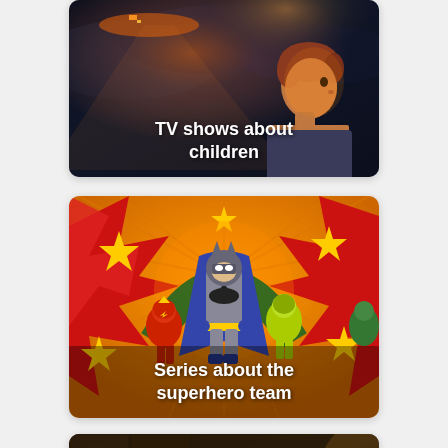[Figure (photo): TV shows about children - dark sci-fi scene with a child looking up at a bright light/spacecraft against a stormy sky]
[Figure (illustration): Series about the superhero team - colorful comic-style illustration of Batman and superhero team on orange starburst background with red pop-art elements and stars]
[Figure (photo): Partially visible card showing a group of people in a dark urban setting, likely a prison drama series]